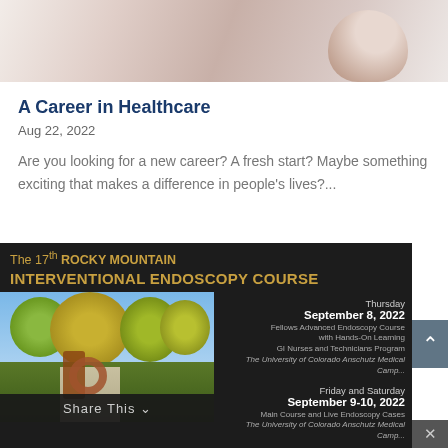[Figure (photo): Close-up photo of a person's face/ear, light skin tones, partially cropped at top of page]
A Career in Healthcare
Aug 22, 2022
Are you looking for a new career? A fresh start? Maybe something exciting that makes a difference in people's lives?...
[Figure (infographic): The 17th Rocky Mountain Interventional Endoscopy Course promotional banner with campus photo. Thursday September 8, 2022 - Fellows Advanced Endoscopy Course with Hands-On Learning, GI Nurses and Technicians Program, The University of Colorado Anschutz Medical Campus. Friday and Saturday September 9-10, 2022 - Main Course and Live Endoscopy Cases, The University of Colorado Anschutz Medical Campus.]